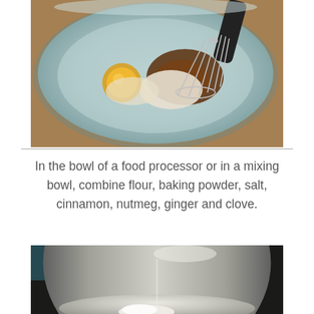[Figure (photo): A light blue mixing bowl containing a cracked egg with yolk visible, brown spices, white ingredients (likely sugar or flour), with a metal whisk resting in the bowl. Background shows a wooden surface.]
In the bowl of a food processor or in a mixing bowl, combine flour, baking powder, salt, cinnamon, nutmeg, ginger and clove.
[Figure (photo): A large stainless steel mixing bowl viewed from above with white powdery ingredients (likely flour or other dry ingredients) at the bottom.]